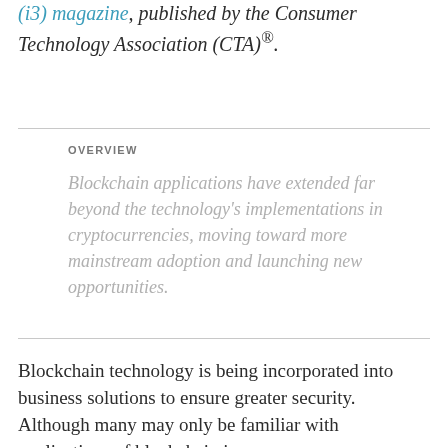(i3) magazine, published by the Consumer Technology Association (CTA)®.
OVERVIEW
Blockchain applications have extended far beyond the technology's implementations in cryptocurrencies, moving toward more mainstream adoption and launching new opportunities.
Blockchain technology is being incorporated into business solutions to ensure greater security. Although many may only be familiar with applications of blockchain in